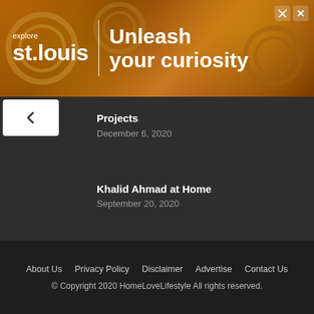[Figure (screenshot): Advertisement banner for 'explore st.louis' with tagline 'Unleash your curiosity' on a golden gear background]
Projects
December 6, 2020
Khalid Ahmad at Home
September 20, 2020
Zubaida Apa and Hussain Tariq's Gracious Home
September 13, 2020
About Us   Privacy Policy   Disclaimer   Advertise   Contact Us
© Copyright 2020 HomeLoveLifestyle All rights reserved.